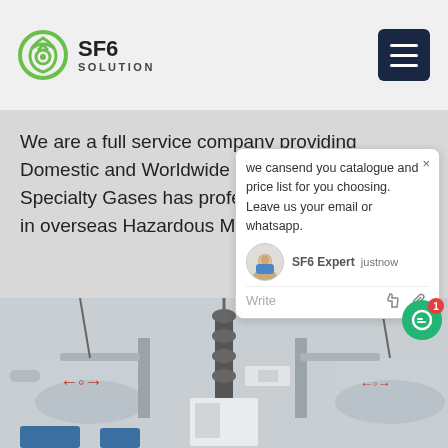SF6 SOLUTION
We are a full service company providing Domestic and Worldwide service. Advanced Specialty Gases has professional certification in overseas Hazardous Materials Logistics.
Get Price
we cansend you catalogue and price list for you choosing.
Leave us your email or whatsapp.
SF6 Expert  justnow
Write
[Figure (photo): Electrical substation with SF6 gas insulated switchgear equipment, cylindrical tanks and overhead insulators]